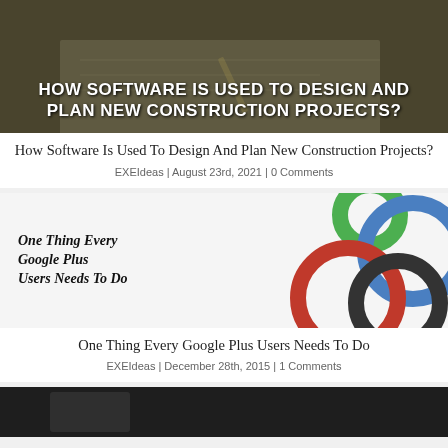[Figure (photo): Dark background construction/blueprint image with bold white text overlay: HOW SOFTWARE IS USED TO DESIGN AND PLAN NEW CONSTRUCTION PROJECTS?]
How Software Is Used To Design And Plan New Construction Projects?
EXEIdeas | August 23rd, 2021 | 0 Comments
[Figure (illustration): White background with bold italic text 'One Thing Every Google Plus Users Needs To Do' on left, and overlapping colored rings (green, blue, red, dark gray) on the right.]
One Thing Every Google Plus Users Needs To Do
EXEIdeas | December 28th, 2015 | 1 Comments
[Figure (photo): Dark/black background image, partially visible at bottom of page.]